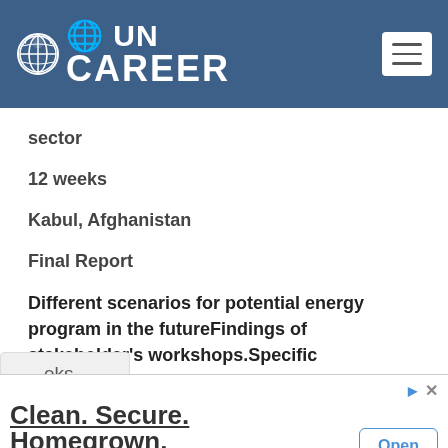[Figure (logo): UN Career logo with globe icon in white on blue header bar, with hamburger menu icon on the right]
sector
12 weeks
Kabul, Afghanistan
Final Report
Different scenarios for potential energy program in the futureFindings of stakeholder's workshops.Specific recommendations for future interventions in the energy sector.
eks
Clean. Secure. Homegrown. We need to act now or we risk losing step as a global leader in nuclear energy. Build Nuclear Now